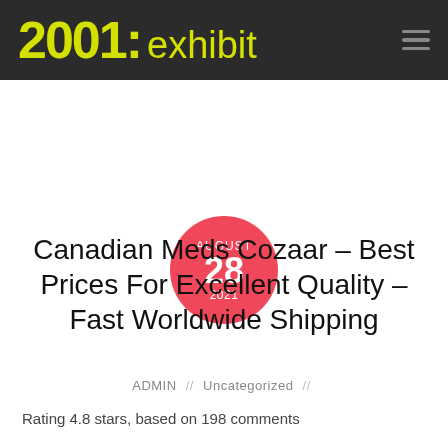2001:exhibit
AUGUST 28 2021
Canadian Meds Cozaar – Best Prices For Excellent Quality – Fast Worldwide Shipping
ADMIN // Uncategorized //
Rating 4.8 stars, based on 198 comments